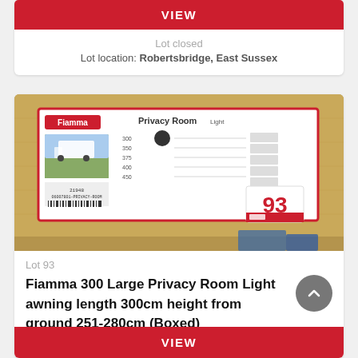VIEW
Lot closed
Lot location: Robertsbridge, East Sussex
[Figure (photo): A boxed Fiamma 300 Large Privacy Room Light product in a cardboard box, with a product label showing specifications and a lot number tag '93' in red and white.]
Lot 93
Fiamma 300 Large Privacy Room Light awning length 300cm height from ground 251-280cm (Boxed)
VIEW